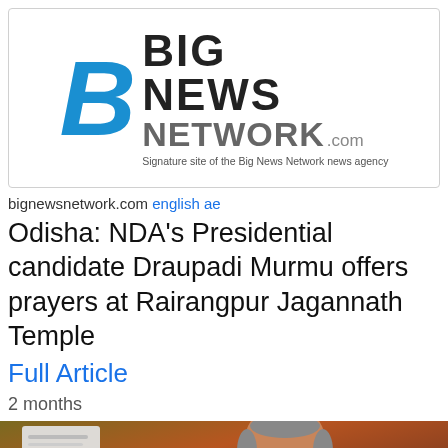[Figure (logo): Big News Network logo with large stylized B in blue, BIG NEWS NETWORK text, .com suffix, and tagline 'Signature site of the Big News Network news agency']
bignewsnetwork.com english ae
Odisha: NDA's Presidential candidate Draupadi Murmu offers prayers at Rairangpur Jagannath Temple
Full Article
2 months
[Figure (photo): Photo of an elderly man with glasses holding a document with a pink highlighted line, olive/brown background]